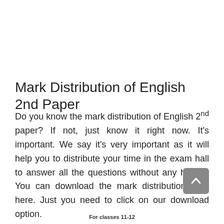Mark Distribution of English 2nd Paper
Do you know the mark distribution of English 2nd paper? If not, just know it right now. It's important. We say it's very important as it will help you to distribute your time in the exam hall to answer all the questions without any hassle. You can download the mark distribution from here. Just you need to click on our download option.
For classes 11-12